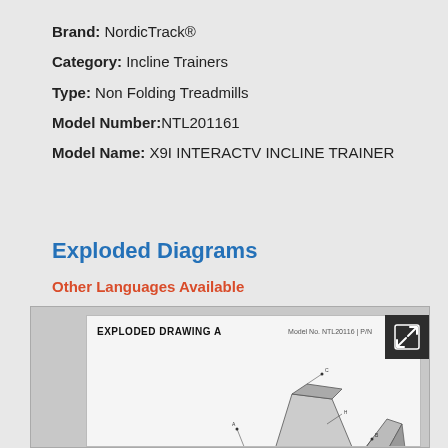Brand: NordicTrack®
Category: Incline Trainers
Type: Non Folding Treadmills
Model Number:NTL201161
Model Name: X9I INTERACTV INCLINE TRAINER
Exploded Diagrams
Other Languages Available
[Figure (engineering-diagram): Exploded Drawing A for NordicTrack X9I Incline Trainer model NTL201161, showing an isometric exploded view of the treadmill components with part number callouts.]